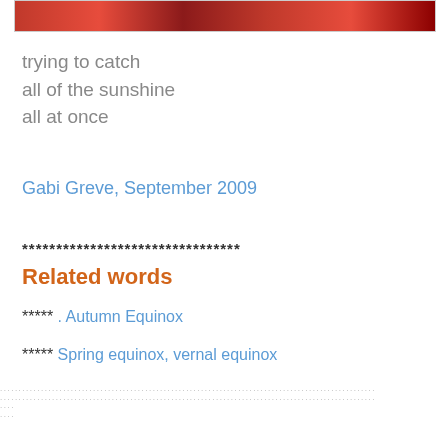[Figure (photo): Strip of red plant/grass photo at top of page]
trying to catch
all of the sunshine
all at once
Gabi Greve, September 2009
********************************
Related words
***** . Autumn Equinox
***** Spring equinox, vernal equinox
.....................................................................
.....................................................................
....
....